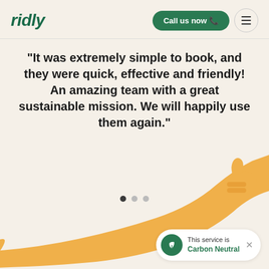ridly | Call us now
"It was extremely simple to book, and they were quick, effective and friendly! An amazing team with a great sustainable mission. We will happily use them again."
[Figure (illustration): Orange illustrated arm with thumbs up gesture curving across the bottom of the page]
This service is Carbon Neutral